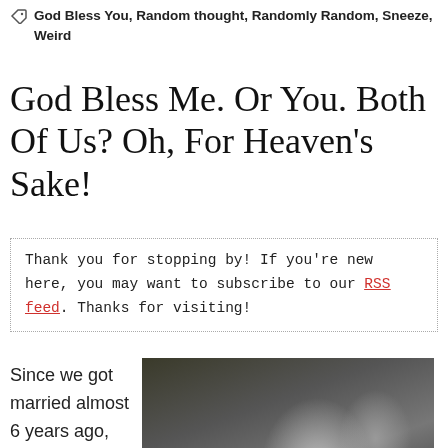God Bless You, Random thought, Randomly Random, Sneeze, Weird
God Bless Me. Or You. Both Of Us? Oh, For Heaven’s Sake!
Thank you for stopping by! If you're new here, you may want to subscribe to our RSS feed. Thanks for visiting!
Since we got married almost 6 years ago, my husband has gotten me in the habit of
[Figure (photo): Black and white photo of a couple kissing with red roses and floral decorations in the background. A red scroll-to-top button with an up arrow is visible in the bottom right corner.]